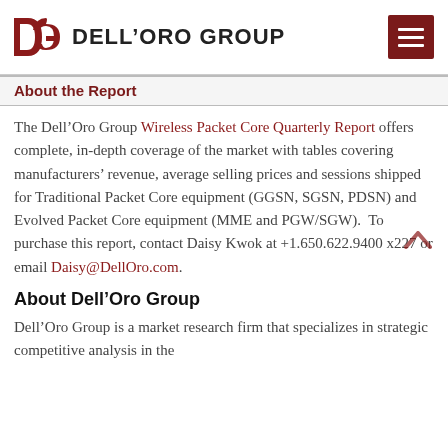Dell'Oro Group
About the Report
The Dell’Oro Group Wireless Packet Core Quarterly Report offers complete, in-depth coverage of the market with tables covering manufacturers’ revenue, average selling prices and sessions shipped for Traditional Packet Core equipment (GGSN, SGSN, PDSN) and Evolved Packet Core equipment (MME and PGW/SGW).  To purchase this report, contact Daisy Kwok at +1.650.622.9400 x227 or email Daisy@DellOro.com.
About Dell’Oro Group
Dell’Oro Group is a market research firm that specializes in strategic competitive analysis in the